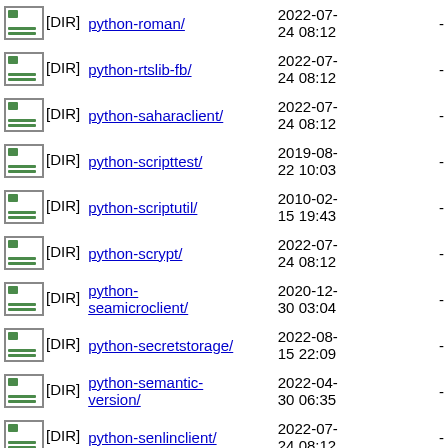|  |  | Name | Date | Size |
| --- | --- | --- | --- | --- |
| [DIR] | python-roman/ | 2022-07-24 08:12 | - |
| [DIR] | python-rtslib-fb/ | 2022-07-24 08:12 | - |
| [DIR] | python-saharaclient/ | 2022-07-24 08:12 | - |
| [DIR] | python-scripttest/ | 2019-08-22 10:03 | - |
| [DIR] | python-scriptutil/ | 2010-02-15 19:43 | - |
| [DIR] | python-scrypt/ | 2022-07-24 08:12 | - |
| [DIR] | python-seamicroclient/ | 2020-12-30 03:04 | - |
| [DIR] | python-secretstorage/ | 2022-08-15 22:09 | - |
| [DIR] | python-semantic-version/ | 2022-04-30 06:35 | - |
| [DIR] | python-senlinclient/ | 2022-07-24 08:12 | - |
| [DIR] | python-service-identity/ | 2022-06-20 15:58 | - |
| [DIR] |  | 2022-07- | - |